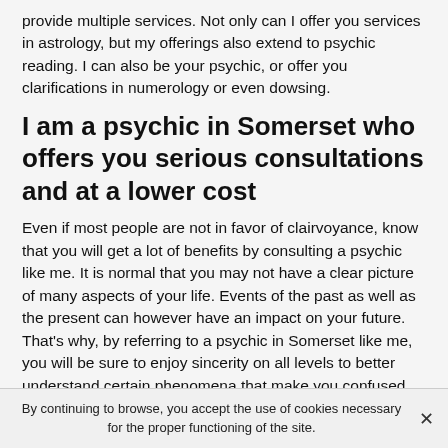provide multiple services. Not only can I offer you services in astrology, but my offerings also extend to psychic reading. I can also be your psychic, or offer you clarifications in numerology or even dowsing.
I am a psychic in Somerset who offers you serious consultations and at a lower cost
Even if most people are not in favor of clairvoyance, know that you will get a lot of benefits by consulting a psychic like me. It is normal that you may not have a clear picture of many aspects of your life. Events of the past as well as the present can however have an impact on your future. That's why, by referring to a psychic in Somerset like me, you will be sure to enjoy sincerity on all levels to better understand certain phenomena that make you confused.
By continuing to browse, you accept the use of cookies necessary for the proper functioning of the site.